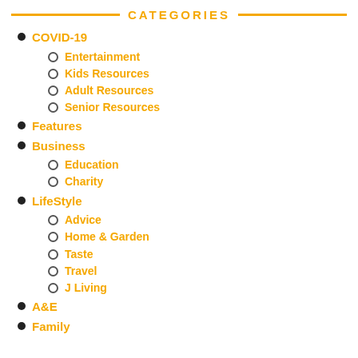CATEGORIES
COVID-19
Entertainment
Kids Resources
Adult Resources
Senior Resources
Features
Business
Education
Charity
LifeStyle
Advice
Home & Garden
Taste
Travel
J Living
A&E
Family